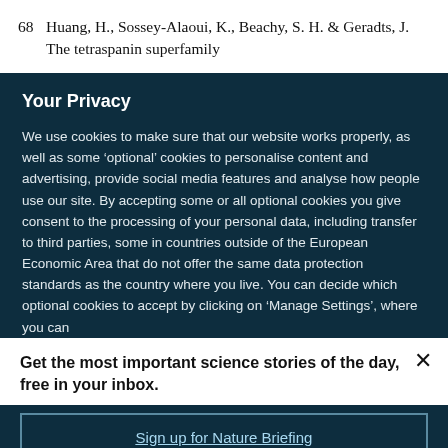68  Huang, H., Sossey-Alaoui, K., Beachy, S. H. & Geradts, J. The tetraspanin superfamily
Your Privacy
We use cookies to make sure that our website works properly, as well as some ‘optional’ cookies to personalise content and advertising, provide social media features and analyse how people use our site. By accepting some or all optional cookies you give consent to the processing of your personal data, including transfer to third parties, some in countries outside of the European Economic Area that do not offer the same data protection standards as the country where you live. You can decide which optional cookies to accept by clicking on ‘Manage Settings’, where you can
Get the most important science stories of the day, free in your inbox.
Sign up for Nature Briefing